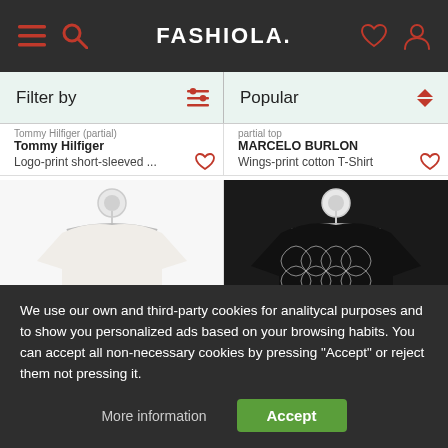FASHIOLA.
Filter by | Popular
Tommy Hilfiger
Logo-print short-sleeved ...
MARCELO BURLON
Wings-print cotton T-Shirt
[Figure (photo): White MSGM logo t-shirt on a hanger]
[Figure (photo): Black Givenchy bandana-print jacket on a hanger]
We use our own and third-party cookies for analitycal purposes and to show you personalized ads based on your browsing habits. You can accept all non-necessary cookies by pressing "Accept" or reject them not pressing it.
More information
Accept